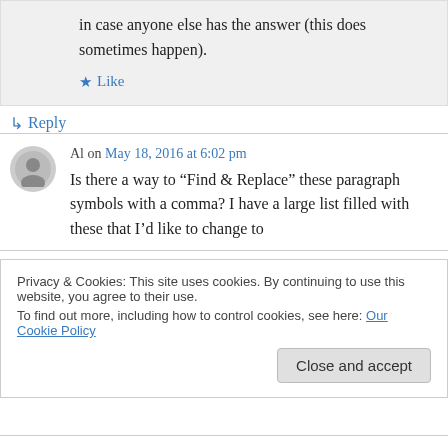in case anyone else has the answer (this does sometimes happen).
★ Like
↳ Reply
Al on May 18, 2016 at 6:02 pm
Is there a way to “Find & Replace” these paragraph symbols with a comma? I have a large list filled with these that I’d like to change to
Privacy & Cookies: This site uses cookies. By continuing to use this website, you agree to their use.
To find out more, including how to control cookies, see here: Our Cookie Policy
Close and accept